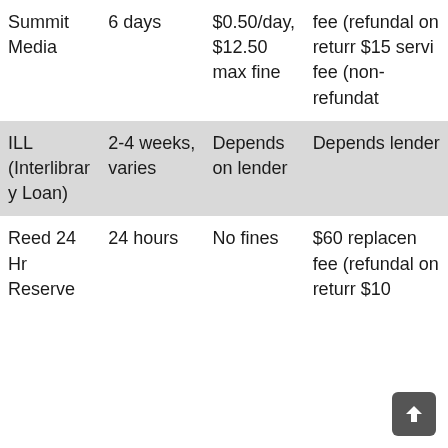| Item Type | Loan Period | Fine | Lost/Other Fees |
| --- | --- | --- | --- |
| Summit Media | 6 days | $0.50/day, $12.50 max fine | fee (refundable on return) $15 service fee (non-refundable) |
| ILL (Interlibrary Loan) | 2-4 weeks, varies | Depends on lender | Depends lender |
| Reed 24 Hr Reserve | 24 hours | No fines | $60 replacement fee (refundable on return) $10 |